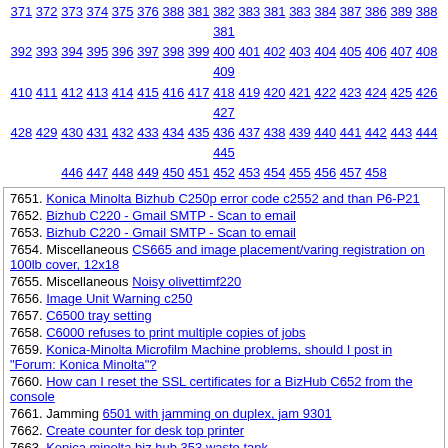371 372 373 374 375 376 388 381 382 383 381 383 384 387 386 389 388 381 392 393 394 395 396 397 398 399 400 401 402 403 404 405 406 407 408 409 410 411 412 413 414 415 416 417 418 419 420 421 422 423 424 425 426 427 428 429 430 431 432 433 434 435 436 437 438 439 440 441 442 443 444 445 446 447 448 449 450 451 452 453 454 455 456 457 458
7651. Konica Minolta Bizhub C250p error code c2552 and than P6-P21
7652. Bizhub C220 - Gmail SMTP - Scan to email
7653. Bizhub C220 - Gmail SMTP - Scan to email
7654. Miscellaneous CS665 and image placement/varing registration on 100lb cover, 12x18
7655. Miscellaneous Noisy olivettimf220
7656. Image Unit Warning c250
7657. C6500 tray setting
7658. C6000 refuses to print multiple copies of jobs
7659. Konica-Minolta Microfilm Machine problems, should I post in "Forum: Konica Minolta"?
7660. How can I reset the SSL certificates for a BizHub C652 from the console
7661. Jamming 6501 with jamming on duplex, jam 9301
7662. Create counter for desk top printer
7663. Konica minolta biz hub 353 waste tank
7664. Konica Minolta Bizhub C253 Banding
7665. C351 adf jam when wake from sleep mode
7666. BzH 200 Counters don't match now....
7667. Error Code error c3012 for konica minolta
7668. Miscellaneous IU mod firmware
7669. Miscellaneous C280
7670. Jamming DI470 jamming/stoppage
7671. Error Code C3821 error code on bizhub c253